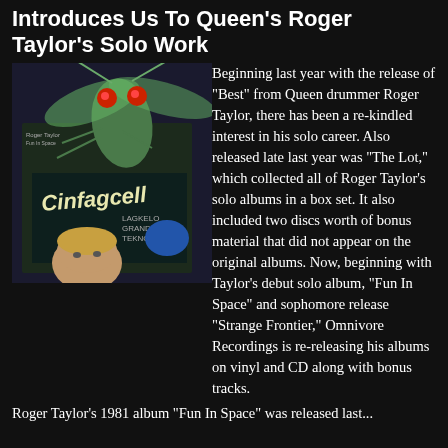Introduces Us To Queen's Roger Taylor's Solo Work
[Figure (photo): Album cover art showing a stylized insect creature with red eyes above a record/album sleeve for 'Shafagell' or similar, with a person's face visible at the bottom]
Beginning last year with the release of "Best" from Queen drummer Roger Taylor, there has been a re-kindled interest in his solo career. Also released late last year was "The Lot," which collected all of Roger Taylor's solo albums in a box set. It also included two discs worth of bonus material that did not appear on the original albums. Now, beginning with Taylor's debut solo album, "Fun In Space" and sophomore release "Strange Frontier," Omnivore Recordings is re-releasing his albums on vinyl and CD along with bonus tracks.
Roger Taylor's 1981 album "Fun In Space" was released last...